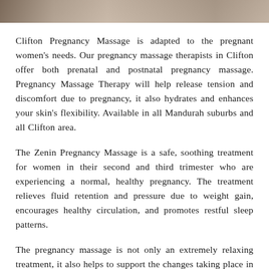[Figure (photo): Partial view of a photo strip at the top of the page, showing a blurred/cropped image related to pregnancy massage]
Clifton Pregnancy Massage is adapted to the pregnant women's needs. Our pregnancy massage therapists in Clifton offer both prenatal and postnatal pregnancy massage. Pregnancy Massage Therapy will help release tension and discomfort due to pregnancy, it also hydrates and enhances your skin's flexibility. Available in all Mandurah suburbs and all Clifton area.
The Zenin Pregnancy Massage is a safe, soothing treatment for women in their second and third trimester who are experiencing a normal, healthy pregnancy. The treatment relieves fluid retention and pressure due to weight gain, encourages healthy circulation, and promotes restful sleep patterns.
The pregnancy massage is not only an extremely relaxing treatment, it also helps to support the changes taking place in your body. Common pregnancy problems can be reduced in a pleasant, holistic and natural manner with regular relaxing massage sessions.
The Pregnancy Massage is adapted to both your, and your